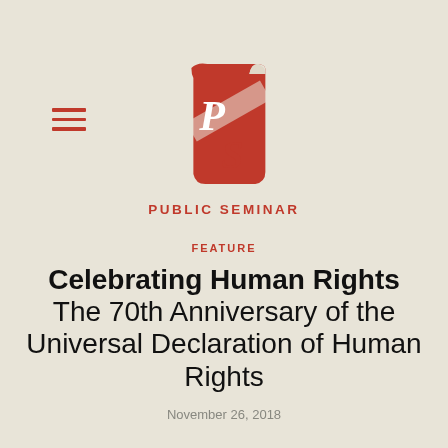[Figure (logo): Public Seminar logo: red scroll/book shape with white letters P and S, with diagonal white stripe]
PUBLIC SEMINAR
FEATURE
Celebrating Human Rights The 70th Anniversary of the Universal Declaration of Human Rights
November 26, 2018